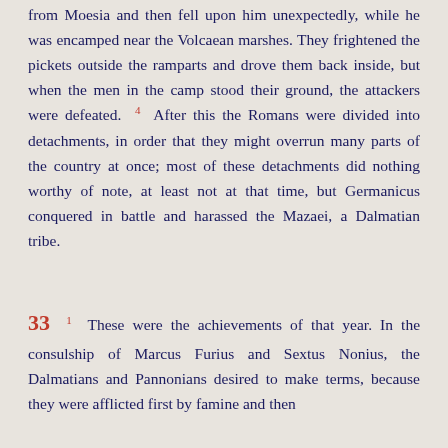from Moesia and then fell upon him unexpectedly, while he was encamped near the Volcaean marshes. They frightened the pickets outside the ramparts and drove them back inside, but when the men in the camp stood their ground, the attackers were defeated. 4 After this the Romans were divided into detachments, in order that they might overrun many parts of the country at once; most of these detachments did nothing worthy of note, at least not at that time, but Germanicus conquered in battle and harassed the Mazaei, a Dalmatian tribe.
33 1 These were the achievements of that year. In the consulship of Marcus Furius and Sextus Nonius, the Dalmatians and Pannonians desired to make terms, because they were afflicted first by famine and then